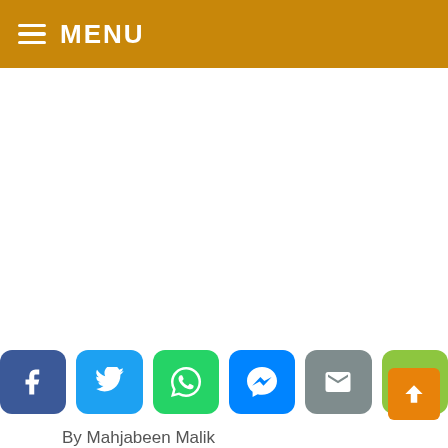MENU
[Figure (other): White blank advertisement/image area]
[Figure (other): Row of social sharing buttons: Facebook, Twitter, WhatsApp, Messenger, Email, Share]
By Mahjabeen Malik
Mir Zafar Ali is a pride of Pakistan.  He has won three-time